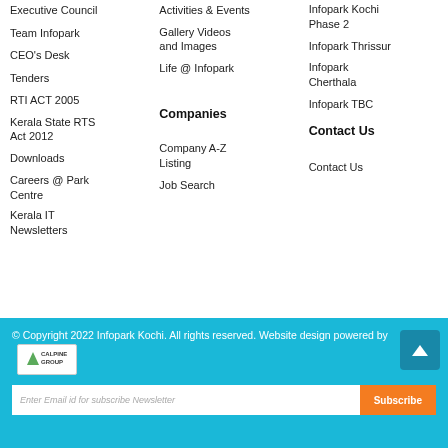Executive Council
Team Infopark
CEO's Desk
Tenders
RTI ACT 2005
Kerala State RTS Act 2012
Downloads
Careers @ Park Centre
Kerala IT Newsletters
Activities & Events
Gallery Videos and Images
Life @ Infopark
Companies
Company A-Z Listing
Job Search
Kochi - Home City
Infopark Kochi Phase 2
Infopark Thrissur
Infopark Cherthala
Infopark TBC
Contact Us
Contact Us
© Copyright 2022 Infopark Kochi. All rights reserved. Website design powered by CALPINE GROUP
Enter Email id for subscribe Newsletter
Subscribe